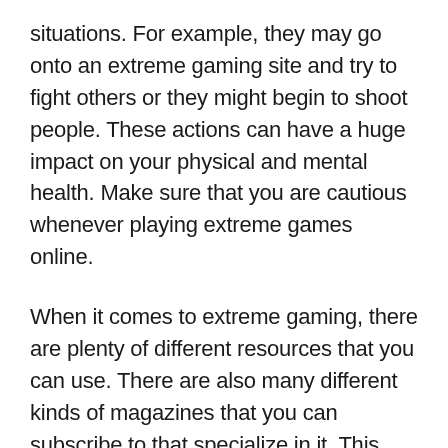situations. For example, they may go onto an extreme gaming site and try to fight others or they might begin to shoot people. These actions can have a huge impact on your physical and mental health. Make sure that you are cautious whenever playing extreme games online.
When it comes to extreme gaming, there are plenty of different resources that you can use. There are also many different kinds of magazines that you can subscribe to that specialize in it. This can be a great way to get you started in the right direction. Don’t neglect reading up about the many different available games. Reading up on them will give you an idea of which ones you would be most interested in.